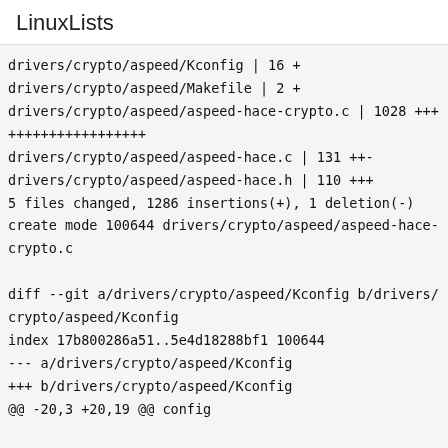LinuxLists
drivers/crypto/aspeed/Kconfig | 16 +
drivers/crypto/aspeed/Makefile | 2 +
drivers/crypto/aspeed/aspeed-hace-crypto.c | 1028 ++++++++++++++++++++
drivers/crypto/aspeed/aspeed-hace.c | 131 ++-
drivers/crypto/aspeed/aspeed-hace.h | 110 +++
5 files changed, 1286 insertions(+), 1 deletion(-)
create mode 100644 drivers/crypto/aspeed/aspeed-hace-crypto.c

diff --git a/drivers/crypto/aspeed/Kconfig b/drivers/crypto/aspeed/Kconfig
index 17b800286a51..5e4d18288bf1 100644
--- a/drivers/crypto/aspeed/Kconfig
+++ b/drivers/crypto/aspeed/Kconfig
@@ -20,3 +20,19 @@ config